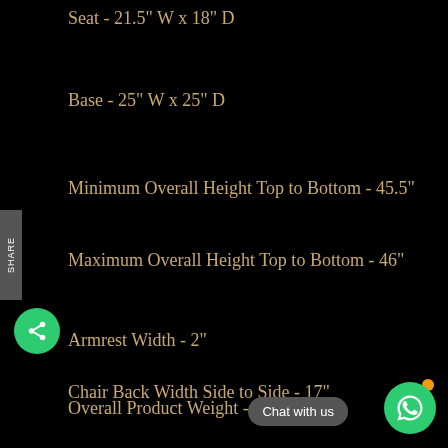Seat - 21.5" W x 18" D
Base - 25" W x 25" D
Minimum Overall Height Top to Bottom - 45.5"
Maximum Overall Height Top to Bottom - 46"
Armrest Width - 2"
Chair Back Width Side to Side - 17"
Overall Product Weight - 33 lb.